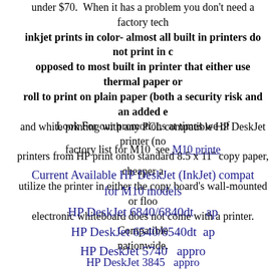under $70.  When it has a problem you don't need a factory tech inkjet prints in color- almost all built in printers do not print in color opposed to most built in printer that either use thermal paper or roll to print on plain paper (both a security risk and an added expense) and white printing with any PCL compatible HP DeskJet printer (no printers from HP print onto standard 8.5 x 11" copy paper, cheaper and utilize the printer in either the copy board's wall-mounted or floor electronic whiteboard does not come with a printer. Compatible nationwide.
Look For our promotions at times we of
factory list for M10  see  M10 printer
Current Available HP DeskJet (InkJet) compatible for M10 models
HP DeskJet 6840/6840dt    ap
HP DeskJet 6540/6540dt   ap
HP DeskJet 5740   appro
HP DeskJet 3845   appro
HP DeskJet 3745   appr